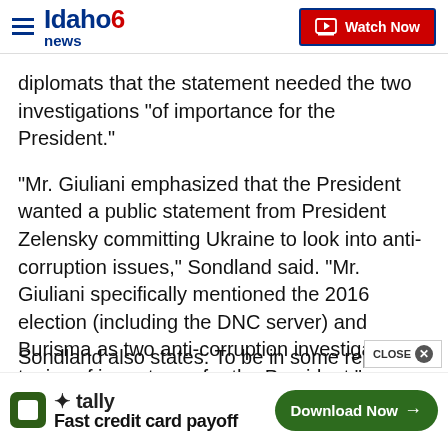Idaho News 6 | Watch Now
diplomats that the statement needed the two investigations "of importance for the President."
"Mr. Giuliani emphasized that the President wanted a public statement from President Zelensky committing Ukraine to look into anti-corruption issues," Sondland said. "Mr. Giuliani specifically mentioned the 2016 election (including the DNC server) and Burisma as two anti-corruption investigatory topics of importance for the President."
Sondland also states. To be in some report that she...
[Figure (screenshot): Tally advertisement bar: Tally logo with 'Fast credit card payoff' text and a 'Download Now' green button]